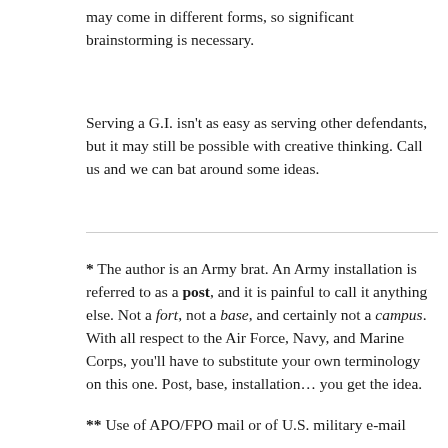may come in different forms, so significant brainstorming is necessary.
Serving a G.I. isn't as easy as serving other defendants, but it may still be possible with creative thinking.  Call us and we can bat around some ideas.
* The author is an Army brat.  An Army installation is referred to as a post, and it is painful to call it anything else.  Not a fort, not a base, and certainly not a campus.  With all respect to the Air Force, Navy, and Marine Corps, you'll have to substitute your own terminology on this one.  Post, base, installation… you get the idea.
** Use of APO/FPO mail or of U.S. military e-mail